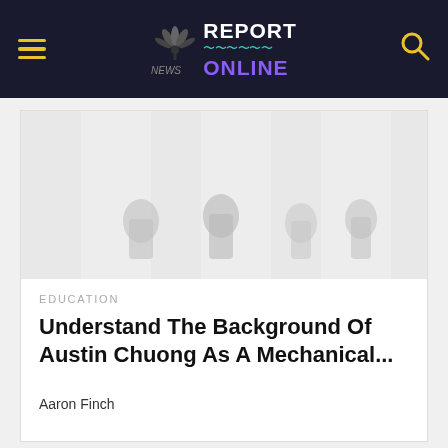NEWS REPORT ONLINE
[Figure (photo): Faded/light photo of a classroom or meeting room with people silhouetted in the background]
EDUCATION
Understand The Background Of Austin Chuong As A Mechanical...
Aaron Finch